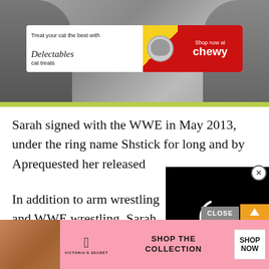[Figure (photo): Chewy/Delectables cat treat advertisement banner overlaid on a black-and-white photo of people. Banner shows 'Treat your cat the best with Delectables cat treats' on left with cat image in center, and 'Shop now at chewy' red panel on right.]
Sarah signed with the WWE in May 2013, under the ring name Sh[obscured], stick for long and by Ap[obscured], requested her released[obscured]
[Figure (screenshot): Video player loading spinner overlay (black rectangle with circular loading indicator) partially covering article text.]
In addition to arm wrestling and WWE wrestling, Sarah was known as Spirit a Glad[obscured] glad[obscured]
[Figure (photo): Victoria's Secret advertisement banner at bottom. Shows model on left, VS logo, 'SHOP THE COLLECTION' text, and 'SHOP NOW' white button on pink background.]